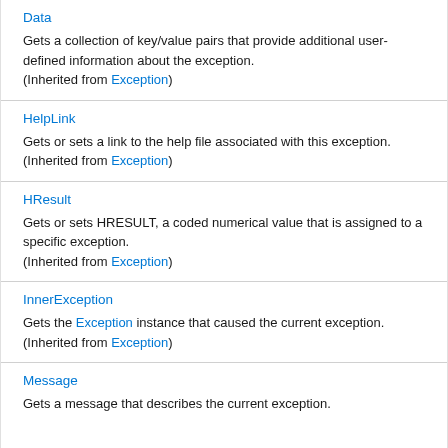Data
Gets a collection of key/value pairs that provide additional user-defined information about the exception. (Inherited from Exception)
HelpLink
Gets or sets a link to the help file associated with this exception. (Inherited from Exception)
HResult
Gets or sets HRESULT, a coded numerical value that is assigned to a specific exception. (Inherited from Exception)
InnerException
Gets the Exception instance that caused the current exception. (Inherited from Exception)
Message
Gets a message that describes the current exception.